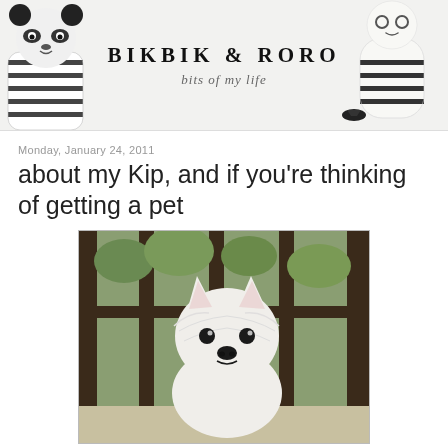[Figure (illustration): Blog header banner for 'BIKBIK & RORO' with two plush toy figures on the left and right sides. Left toy is a panda plush in striped shirt, right toy is a ghost/blob plush in striped shirt.]
BIKBIK & RORO
bits of my life
Monday, January 24, 2011
about my Kip, and if you're thinking of getting a pet
[Figure (photo): Photo of a white West Highland White Terrier (Westie) dog looking at the camera, standing in front of dark metal bars/fence with green foliage in the background.]